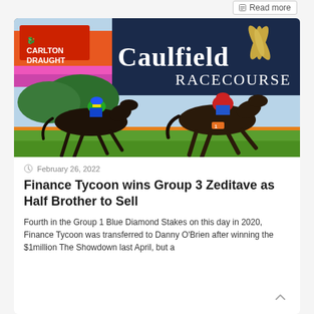Read more
[Figure (photo): Two racehorses and jockeys racing at Caulfield Racecourse, with a 'Caulfield Racecourse' sign visible in the background and Carlton Draught branding. The leading horse wears bib number 1 and is ridden by a jockey in red and blue silks. Bright flowers and green grass visible.]
February 26, 2022
Finance Tycoon wins Group 3 Zeditave as Half Brother to Sell
Fourth in the Group 1 Blue Diamond Stakes on this day in 2020, Finance Tycoon was transferred to Danny O'Brien after winning the $1million The Showdown last April, but a